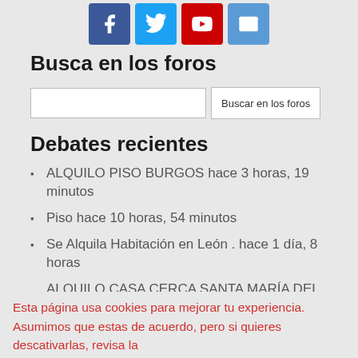[Figure (other): Social media share icons: Facebook (blue), Twitter (light blue), YouTube (red), Email (blue)]
Busca en los foros
Search input field and button: Buscar en los foros
Debates recientes
ALQUILO PISO BURGOS hace 3 horas, 19 minutos
Piso hace 10 horas, 54 minutos
Se Alquila Habitación en León . hace 1 día, 8 horas
ALQUILO CASA cerca SANTA MARÍA DEL CAMPO (BURGOS) hace 1 día, 10 horas
ALQUILO CASA PAMPLIEGA (BURGOS) hace
Esta página usa cookies para mejorar tu experiencia. Asumimos que estas de acuerdo, pero si quieres descativarlas, revisa la